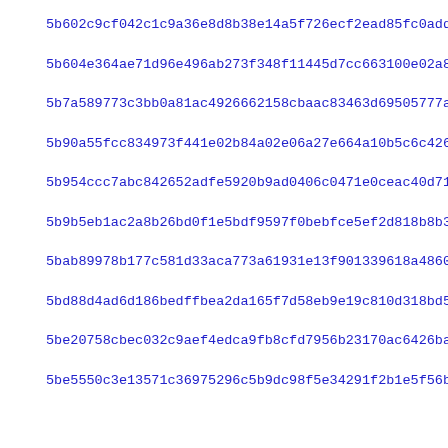5b602c9cf042c1c9a36e8d8b38e14a5f726ecf2ead85fc0add09a3407932f
5b604e364ae71d96e496ab273f348f11445d7cc663100e02a81b460116c86
5b7a589773c3bb0a81ac4926621 58cbaac83463d69505777a8ead69f1a02f
5b90a55fcc834973f441e02b84a02e06a27e664a10b5c6c426a4c42b258e4
5b954ccc7abc842652adfe5920b9ad0406c0471e0ceac40d71525a2d7b537
5b9b5eb1ac2a8b26bd0f1e5bdf9597f0bebfce5ef2d818b8b3c5d0576dbf9
5bab89978b177c581d33aca773a61931e13f901339618a4860a025d5fb0c1
5bd88d4ad6d186bedffbea2da165f7d58eb9e19c810d318bd538f349c035a
5be20758cbec032c9aef4edca9fb8cfd7956b23170ac6426bae8878006124
5be5550c3e13571c36975296c5b9dc98f5e34291f2b1e5f56bdd64056334b